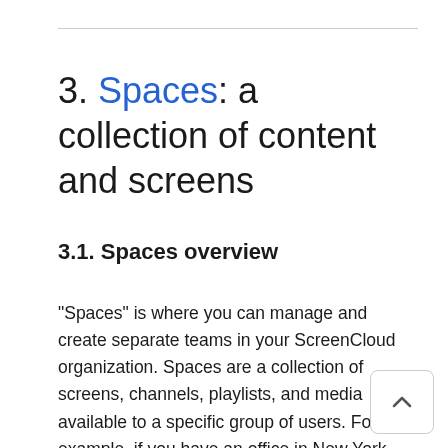3. Spaces: a collection of content and screens
3.1. Spaces overview
"Spaces" is where you can manage and create separate teams in your ScreenCloud organization. Spaces are a collection of screens, channels, playlists, and media available to a specific group of users. For example, if you have an office in New York and another in California, you can create Spaces individually for each location to manage content, screens, and data for each